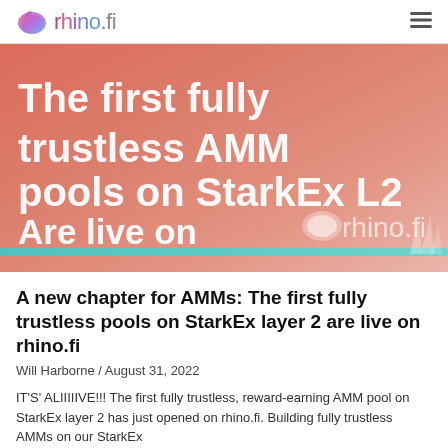rhino.fi
[Figure (illustration): Hero banner with gradient background (coral/salmon to light pink) showing bold white text: 'The first fully trustless AMM pools on StarkEx L2 Are live on rhino.fi' with rhino logo and teal accent bar at bottom]
A new chapter for AMMs: The first fully trustless pools on StarkEx layer 2 are live on rhino.fi
Will Harborne / August 31, 2022
IT'S' ALIIIIIVE!!! The first fully trustless, reward-earning AMM pool on StarkEx layer 2 has just opened on rhino.fi. Building fully trustless AMMs on our StarkEx